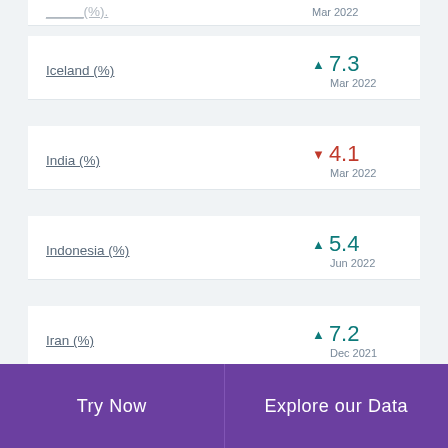Iceland (%) ▲ 7.3 Mar 2022
India (%) ▼ 4.1 Mar 2022
Indonesia (%) ▲ 5.4 Jun 2022
Iran (%) ▲ 7.2 Dec 2021
Ireland (%) ▼ 10.0 Dec 2021
Try Now   Explore our Data